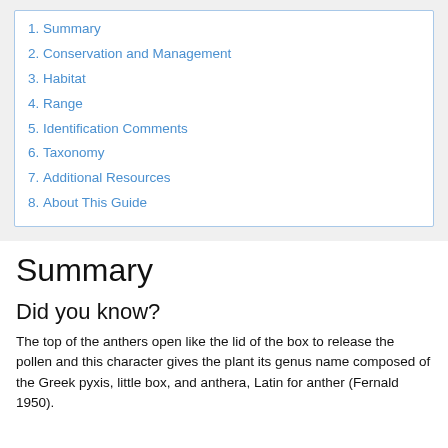1. Summary
2. Conservation and Management
3. Habitat
4. Range
5. Identification Comments
6. Taxonomy
7. Additional Resources
8. About This Guide
Summary
Did you know?
The top of the anthers open like the lid of the box to release the pollen and this character gives the plant its genus name composed of the Greek pyxis, little box, and anthera, Latin for anther (Fernald 1950).